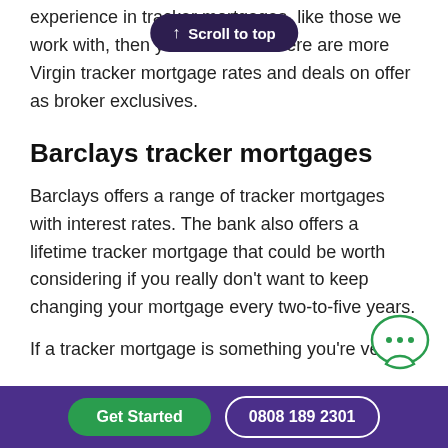experience in tracker mortgages, like those we work with, then you could find there are more Virgin tracker mortgage rates and deals on offer as broker exclusives.
Barclays tracker mortgages
Barclays offers a range of tracker mortgages with interest rates. The bank also offers a lifetime tracker mortgage that could be worth considering if you really don't want to keep changing your mortgage every two-to-five years.
If a tracker mortgage is something you're very k
Get Started   0808 189 2301